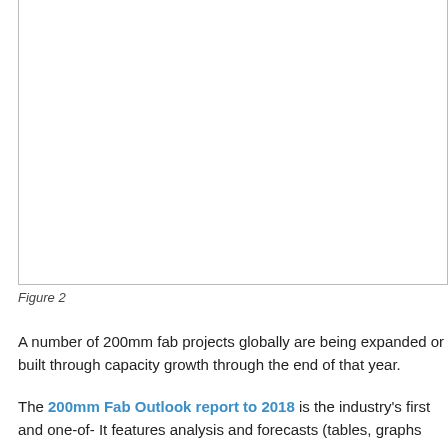[Figure (other): Bottom portion of a chart or graph (Figure 2), showing only the lower border and empty white area — the top of the chart is cut off above the visible page area.]
Figure 2
A number of 200mm fab projects globally are being expanded or built thro... capacity growth through the end of that year.
The 200mm Fab Outlook report to 2018 is the industry's first and one-of-... It features analysis and forecasts (tables, graphs and text) in over 80 page...